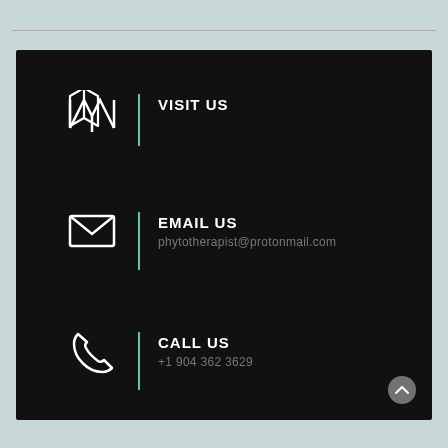VISIT US
EMAIL US
phytotherapist@protonmail.com
CALL US
+1 904 362 3629